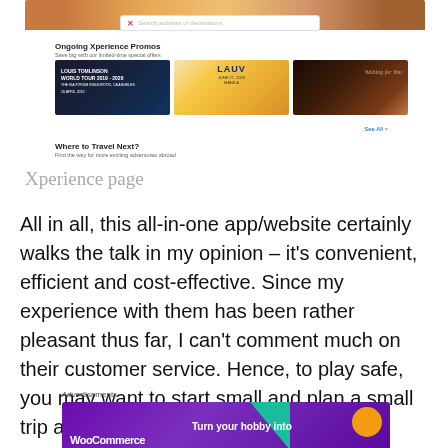[Figure (screenshot): Screenshot of an Xperience app/website page showing ongoing promos with concert event cards (Louis Tomlinson, LAUV, and another artist) and a 'Where to Travel Next?' section at the bottom]
Xperience page
All in all, this all-in-one app/website certainly walks the talk in my opinion – it’s convenient, efficient and cost-effective. Since my experience with them has been rather pleasant thus far, I can’t comment much on their customer service. Hence, to play safe, you may want to start small and plan a small trip abroad with them.
Advertisements
[Figure (screenshot): WooCommerce advertisement banner with purple background, teal triangle, orange circle, and text 'Turn your hobby into']